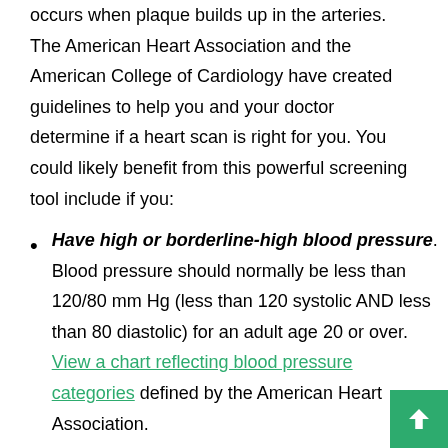occurs when plaque builds up in the arteries. The American Heart Association and the American College of Cardiology have created guidelines to help you and your doctor determine if a heart scan is right for you. You could likely benefit from this powerful screening tool include if you:
Have high or borderline-high blood pressure. Blood pressure should normally be less than 120/80 mm Hg (less than 120 systolic AND less than 80 diastolic) for an adult age 20 or over. View a chart reflecting blood pressure categories defined by the American Heart Association.